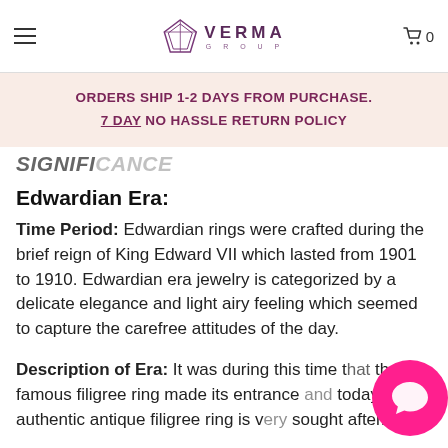Verma Group — navigation header with hamburger menu and cart (0 items)
Condition: Excellent
ORDERS SHIP 1-2 DAYS FROM PURCHASE.
7 DAY NO HASSLE RETURN POLICY
SIGNIFICANCE
Edwardian Era:
Time Period: Edwardian rings were crafted during the brief reign of King Edward VII which lasted from 1901 to 1910. Edwardian era jewelry is categorized by a delicate elegance and light airy feeling which seemed to capture the carefree attitudes of the day.
Description of Era: It was during this time that the famous filigree ring made its entrance and today an authentic antique filigree ring is very sought after.